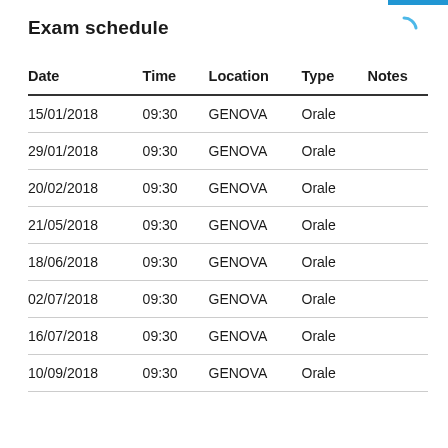Exam schedule
| Date | Time | Location | Type | Notes |
| --- | --- | --- | --- | --- |
| 15/01/2018 | 09:30 | GENOVA | Orale |  |
| 29/01/2018 | 09:30 | GENOVA | Orale |  |
| 20/02/2018 | 09:30 | GENOVA | Orale |  |
| 21/05/2018 | 09:30 | GENOVA | Orale |  |
| 18/06/2018 | 09:30 | GENOVA | Orale |  |
| 02/07/2018 | 09:30 | GENOVA | Orale |  |
| 16/07/2018 | 09:30 | GENOVA | Orale |  |
| 10/09/2018 | 09:30 | GENOVA | Orale |  |